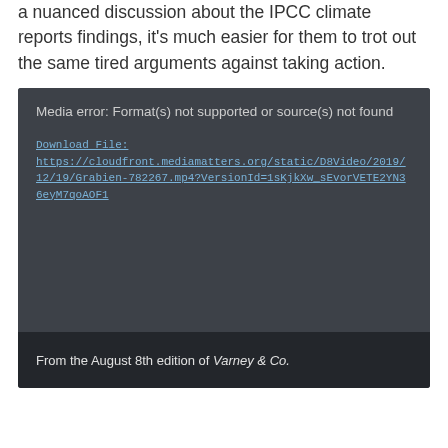a nuanced discussion about the IPCC climate reports findings, it's much easier for them to trot out the same tired arguments against taking action.
[Figure (screenshot): Embedded video player showing a media error message. Error text reads: 'Media error: Format(s) not supported or source(s) not found'. Below is a download link: https://cloudfront.mediamatters.org/static/D8Video/2019/12/19/Grabien-782267.mp4?VersionId=1sKjkXw_sEvorVETE2YN36eyM7qoAOF1. Footer bar reads: 'From the August 8th edition of Vorney & Co.']